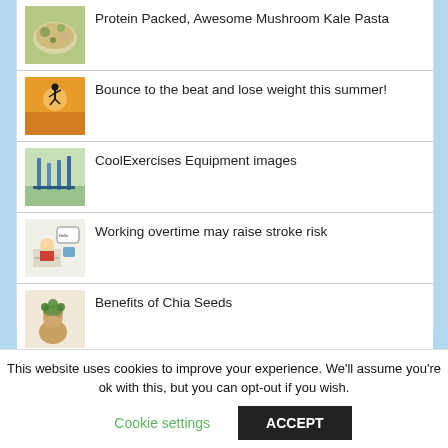Protein Packed, Awesome Mushroom Kale Pasta
Bounce to the beat and lose weight this summer!
CoolExercises Equipment images
Working overtime may raise stroke risk
Benefits of Chia Seeds
This website uses cookies to improve your experience. We'll assume you're ok with this, but you can opt-out if you wish.
Cookie settings
ACCEPT